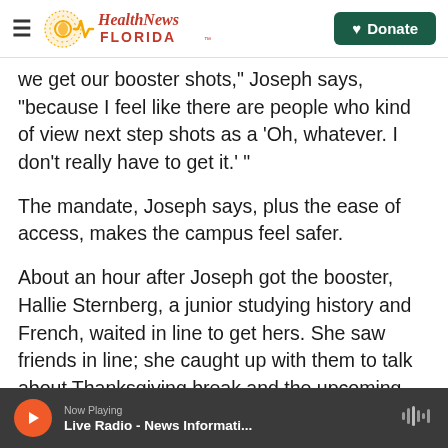Health News Florida — Donate
we get our booster shots," Joseph says, "because I feel like there are people who kind of view next step shots as a 'Oh, whatever. I don't really have to get it.' "
The mandate, Joseph says, plus the ease of access, makes the campus feel safer.
About an hour after Joseph got the booster, Hallie Sternberg, a junior studying history and French, waited in line to get hers. She saw friends in line; she caught up with them to talk about Thanksgiving break and the upcoming needle they
Now Playing — Live Radio - News Informati...